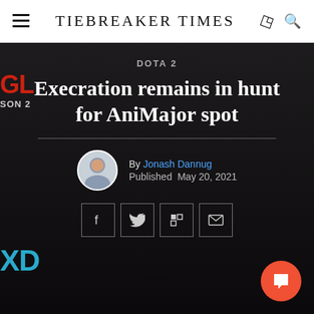TIEBREAKER TIMES
DOTA 2
Execration remains in hunt for AniMajor spot
By Jonash Dannug
Published May 20, 2021
[Figure (photo): Dark background hero image with a person (esports player) and gaming team branding elements]